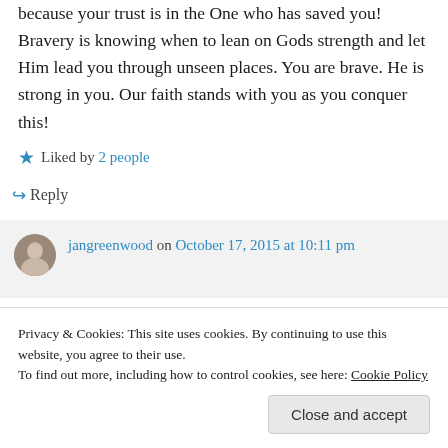because your trust is in the One who has saved you! Bravery is knowing when to lean on Gods strength and let Him lead you through unseen places. You are brave. He is strong in you. Our faith stands with you as you conquer this!
Liked by 2 people
Reply
jangreenwood on October 17, 2015 at 10:11 pm
Privacy & Cookies: This site uses cookies. By continuing to use this website, you agree to their use.
To find out more, including how to control cookies, see here: Cookie Policy